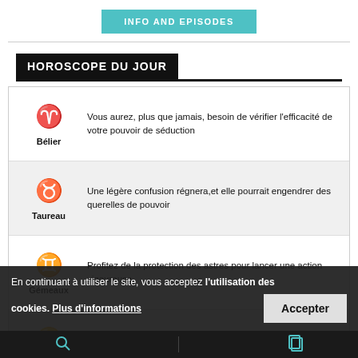INFO AND EPISODES
HOROSCOPE DU JOUR
Bélier — Vous aurez, plus que jamais, besoin de vérifier l'efficacité de votre pouvoir de séduction
Taureau — Une légère confusion régnera,et elle pourrait engendrer des querelles de pouvoir
Gémeaux — Profitez de la protection des astres pour lancer une action vigoureuse
Cancer — Prenez ce ralentissement comme une invitation à compléter votre formation, ou à améliorer vos compétences
En continuant à utiliser le site, vous acceptez l'utilisation des cookies. Plus d'informations — Accepter